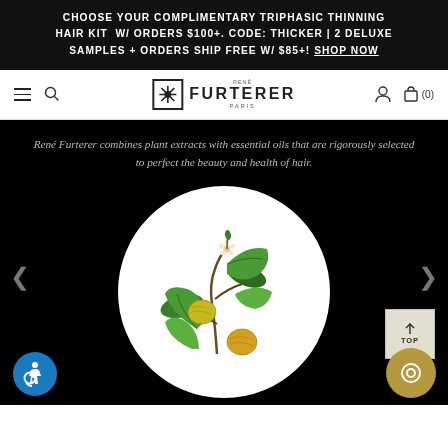CHOOSE YOUR COMPLIMENTARY TRIPHASIC THINNING HAIR KIT W/ ORDERS $100+. CODE: THICKER | 2 DELUXE SAMPLES + ORDERS SHIP FREE W/ $85+! SHOP NOW
[Figure (logo): René Furterer Paris logo with cross/flower icon in square border]
René Furterer combines plant extracts with essential oils that are rigorously selected to perfect the beauty and health of hair.
[Figure (photo): Circular white background with green and yellow citrus fruits (kumquats or similar) with leaves on a branch]
[Figure (other): TOP button with upward arrow icon]
[Figure (other): Blue circular accessibility icon with wheelchair symbol]
[Figure (other): Gold/tan circular chat/search icon]